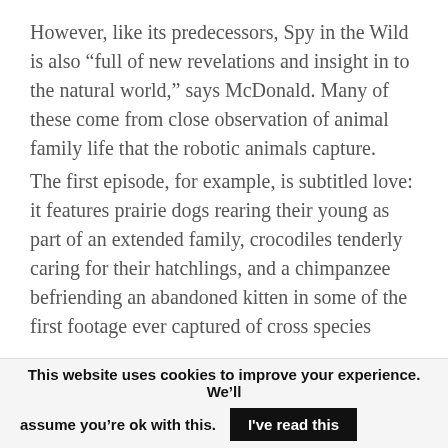However, like its predecessors, Spy in the Wild is also “full of new revelations and insight in to the natural world,” says McDonald. Many of these come from close observation of animal family life that the robotic animals capture.
The first episode, for example, is subtitled love: it features prairie dogs rearing their young as part of an extended family, crocodiles tenderly caring for their hatchlings, and a chimpanzee befriending an abandoned kitten in some of the first footage ever captured of cross species
This website uses cookies to improve your experience. We’ll assume you’re ok with this. I’ve read this